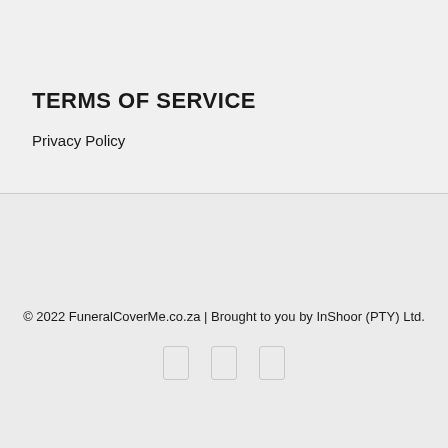TERMS OF SERVICE
Privacy Policy
© 2022 FuneralCoverMe.co.za | Brought to you by InShoor (PTY) Ltd.